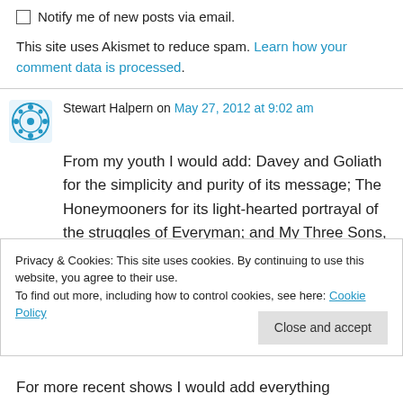Notify me of new posts via email.
This site uses Akismet to reduce spam. Learn how your comment data is processed.
Stewart Halpern on May 27, 2012 at 9:02 am
From my youth I would add: Davey and Goliath for the simplicity and purity of its message; The Honeymooners for its light-hearted portrayal of the struggles of Everyman; and My Three Sons,
Privacy & Cookies: This site uses cookies. By continuing to use this website, you agree to their use.
To find out more, including how to control cookies, see here: Cookie Policy
For more recent shows I would add everything